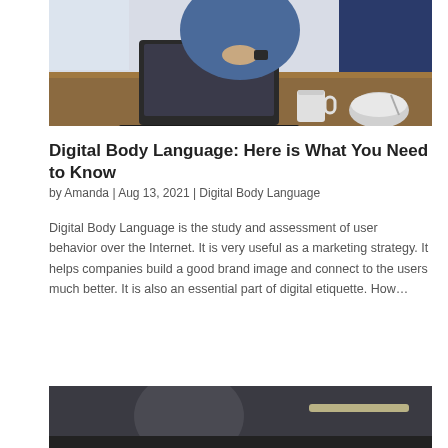[Figure (photo): Person in denim shirt sitting at a table with a laptop, coffee mug, and bowl in a kitchen setting]
Digital Body Language: Here is What You Need to Know
by Amanda | Aug 13, 2021 | Digital Body Language
Digital Body Language is the study and assessment of user behavior over the Internet. It is very useful as a marketing strategy. It helps companies build a good brand image and connect to the users much better. It is also an essential part of digital etiquette. How…
[Figure (photo): Partial photo of a person, cropped at bottom of page]